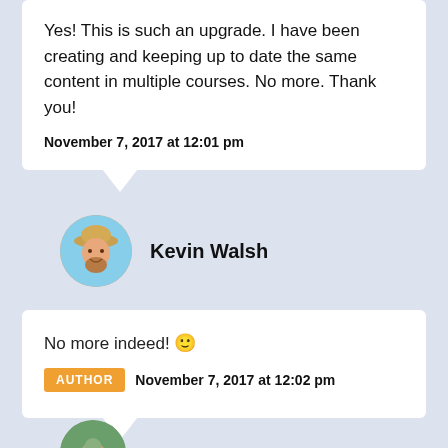Yes! This is such an upgrade. I have been creating and keeping up to date the same content in multiple courses. No more. Thank you!
November 7, 2017 at 12:01 pm
Kevin Walsh
No more indeed! 🙂
AUTHOR  November 7, 2017 at 12:02 pm